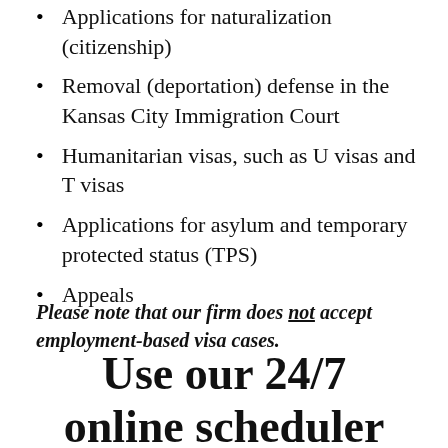Applications for naturalization (citizenship)
Removal (deportation) defense in the Kansas City Immigration Court
Humanitarian visas, such as U visas and T visas
Applications for asylum and temporary protected status (TPS)
Appeals
Please note that our firm does not accept employment-based visa cases.
Use our 24/7 online scheduler below to make an appointment